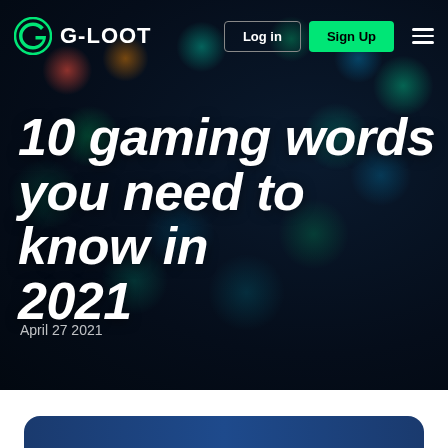[Figure (screenshot): G-Loot website navigation bar with logo, Log in button, Sign Up button, and hamburger menu on dark background]
10 gaming words you need to know in 2021
April 27 2021